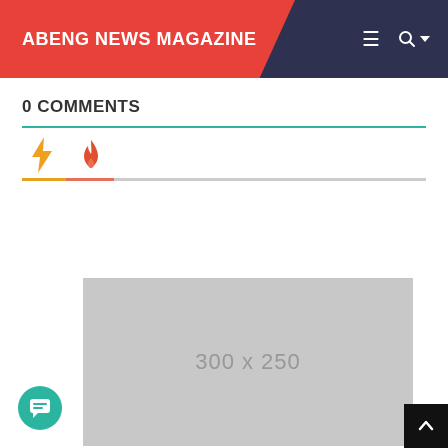ABENG NEWS MAGAZINE
0 COMMENTS
[Figure (screenshot): Tab icons: lightning bolt (yellow-orange) and flame (orange-red) icons for comment sorting tabs, with an orange/gray underline bar]
[Figure (other): Gray advertisement placeholder box labeled 300 x 250]